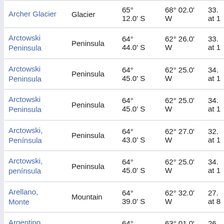| Name | Type | Latitude | Longitude | Other |
| --- | --- | --- | --- | --- |
| Archer Glacier | Glacier | 65°
12.0' S | 68° 02.0'
W | 33.
at 1 |
| Arctowski Peninsula | Peninsula | 64°
44.0' S | 62° 26.0'
W | 33.
at 1 |
| Arctowski Peninsula | Peninsula | 64°
45.0' S | 62° 25.0'
W | 34.
at 1 |
| Arctowski Peninsula | Peninsula | 64°
45.0' S | 62° 25.0'
W | 34.
at 1 |
| Arctowski, Península | Peninsula | 64°
43.0' S | 62° 27.0'
W | 32.
at 1 |
| Arctowski, península | Peninsula | 64°
45.0' S | 62° 25.0'
W | 34.
at 1 |
| Arellano, Monte | Mountain | 64°
39.0' S | 62° 32.0'
W | 27.
at 8 |
| Argentino Channel | Channel | 64°
54.0' S | 63° 01.0'
W | 26.
at 1 |